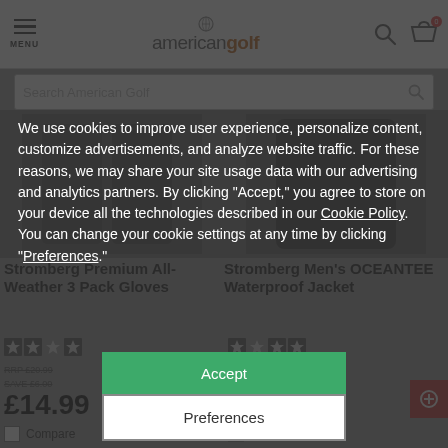americangolf — MENU, Search, Cart
[Figure (screenshot): American Golf e-commerce website showing navigation bar with menu, americangolf logo, search and cart icons; search bar below; partially visible product cards for Stromberg Premium All-Weather 3 Pack Gloves (£14.99, RRP £20.99, SAVE £6.00) and Stromberg Men's OCEANTEE Waterproof Jacket (£49.99, RRP £99.99, SAVE £50.20); cookie consent overlay with Accept and Preferences buttons]
We use cookies to improve user experience, personalize content, customize advertisements, and analyze website traffic. For these reasons, we may share your site usage data with our advertising and analytics partners. By clicking “Accept,” you agree to store on your device all the technologies described in our Cookie Policy. You can change your cookie settings at any time by clicking “Preferences.”